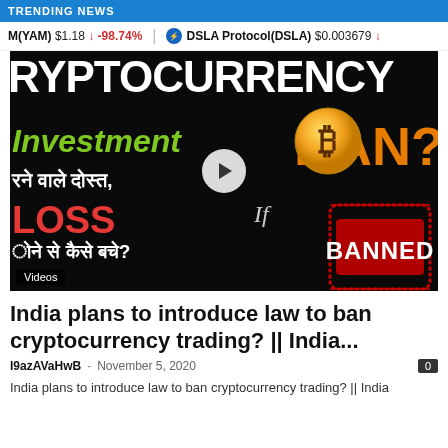Trending News
M(YAM) $1.18 ↓ -98.74%   DSLA Protocol(DSLA) $0.003679 ↓
[Figure (screenshot): Video thumbnail about cryptocurrency investment ban in India, with Hindi text, Bitcoin coin graphic, BANNED stamp, and a play button overlay. Text includes CRYPTOCURRENCY, Investment, BAN?, LOSS, If, and Hindi script. Labels: Videos.]
India plans to introduce law to ban cryptocurrency trading? || India...
I9azAVaHwB – November 5, 2020
India plans to introduce law to ban cryptocurrency trading? || India